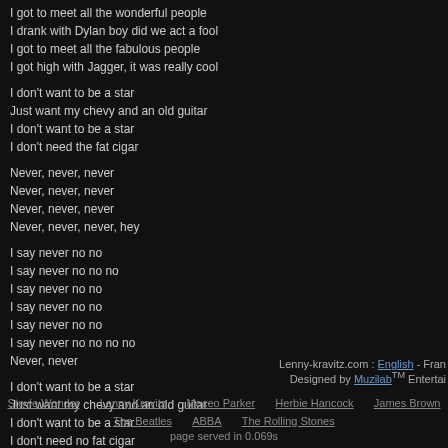I got to meet all the wonderful people
I drank with Dylan boy did we act a fool
I got to meet all the fabulous people
I got high with Jagger, it was really cool
I don't want to be a star
Just want my chevy and an old guitar
I don't want to be a star
I don't need the fat cigar
Never, never, never
Never, never, never
Never, never, never
Never, never, never, hey
I say never no no
I say never no no no
I say never no no
I say never no no
I say never no no
I say never no no no no
Never, never
I don't want to be a star
Just want my chevy and an old guitar
I don't want to be a star
I don't need no fat cigar
Lenny-kravitz.com : English - Fran
Designed by Muzilab™ Entertai
Stevie Wonder    Lenny Kravitz    Maceo Parker    Herbie Hancock    James Brown
The Beatles    ABBA    The Rolling Stones
page served in 0.069s